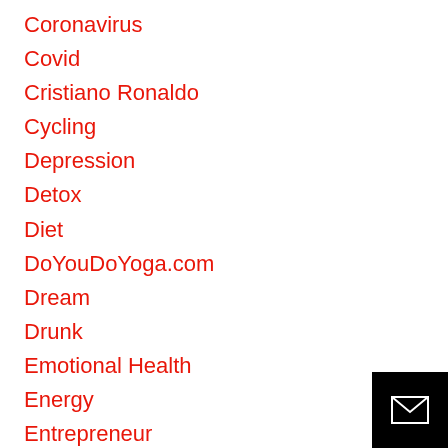Coronavirus
Covid
Cristiano Ronaldo
Cycling
Depression
Detox
Diet
DoYouDoYoga.com
Dream
Drunk
Emotional Health
Energy
Entrepreneur
Entrepreneur Europe
Exercise
Family
Fast Company